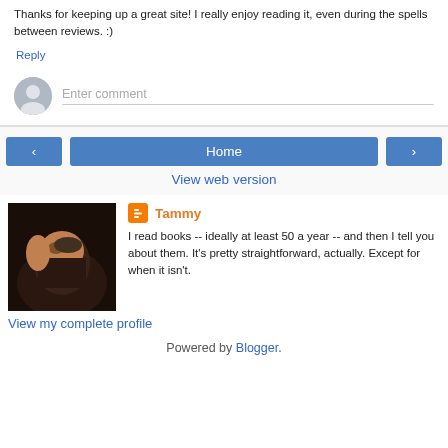Thanks for keeping up a great site! I really enjoy reading it, even during the spells between reviews. :)
Reply
Enter comment
Home
View web version
Tammy
I read books -- ideally at least 50 a year -- and then I tell you about them. It's pretty straightforward, actually. Except for when it isn't.
View my complete profile
Powered by Blogger.